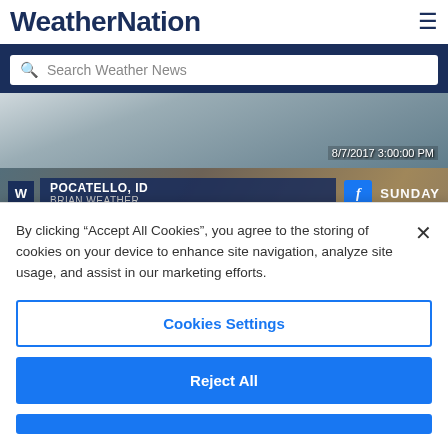WeatherNation
[Figure (screenshot): Search bar with 'Search Weather News' placeholder on dark navy background]
[Figure (photo): Aerial/landscape weather camera image with timestamp '8/7/2017 3:00:00 PM' in bottom right]
[Figure (screenshot): WeatherNation broadcast banner showing 'POCATELLO, ID / BRIAN WEATHER' with Facebook icon and 'SUNDAY' label, over snowy roof image]
By clicking “Accept All Cookies”, you agree to the storing of cookies on your device to enhance site navigation, analyze site usage, and assist in our marketing efforts.
Cookies Settings
Reject All